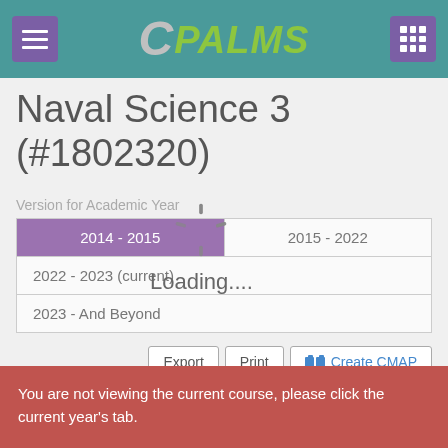CPALMS
Naval Science 3 (#1802320)
Version for Academic Year
| 2014 - 2015 | 2015 - 2022 |
| 2022 - 2023 (current) |  |
| 2023 - And Beyond |  |
[Figure (infographic): Loading spinner overlay with text 'Loading....']
Export  Print  📖 Create CMAP
You are not viewing the current course, please click the current year's tab.